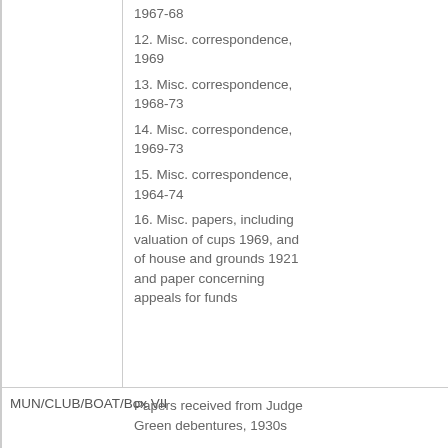1967-68
12. Misc. correspondence, 1969
13. Misc. correspondence, 1968-73
14. Misc. correspondence, 1969-73
15. Misc. correspondence, 1964-74
16. Misc. papers, including valuation of cups 1969, and of house and grounds 1921 and paper concerning appeals for funds
MUN/CLUB/BOAT/Box VII
Papers received from Judge Green debentures, 1930s